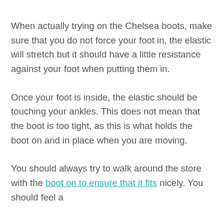When actually trying on the Chelsea boots, make sure that you do not force your foot in, the elastic will stretch but it should have a little resistance against your foot when putting them in.
Once your foot is inside, the elastic should be touching your ankles. This does not mean that the boot is too tight, as this is what holds the boot on and in place when you are moving.
You should always try to walk around the store with the boot on to ensure that it fits nicely. You should feel a